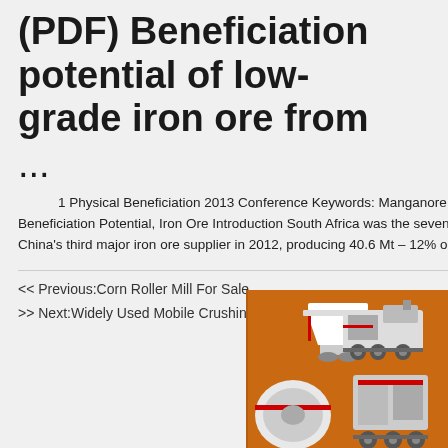(PDF) Beneficiation potential of low-grade iron ore from ...
1 Physical Beneficiation 2013 Conference Keywords: Manganore Iron Formation, Gravity Concentration, Beneficiation Potential, Iron Ore Introduction South Africa was the seventh largest iron ore producer in the world and China's third major iron ore supplier in 2012, producing 40.6 Mt – 12% output (Nelson, 2012; Mining Weekly ...
<< Previous:Corn Roller Mill For Sale
>> Next:Widely Used Mobile Crushing Plant